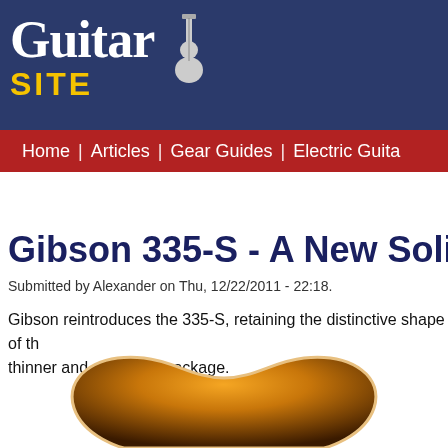Guitar Site
Home | Articles | Gear Guides | Electric Guita
Gibson 335-S - A New Solidb
Submitted by Alexander on Thu, 12/22/2011 - 22:18.
Gibson reintroduces the 335-S, retaining the distinctive shape of th thinner and solidbody package.
[Figure (photo): Bottom portion of a sunburst Gibson 335-S electric guitar body]